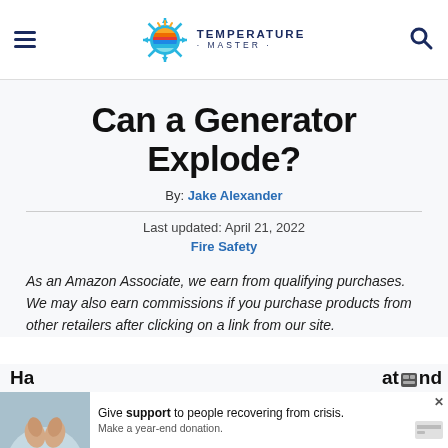Temperature Master — navigation header with hamburger menu and search icon
Can a Generator Explode?
By: Jake Alexander
Last updated: April 21, 2022
Fire Safety
As an Amazon Associate, we earn from qualifying purchases. We may also earn commissions if you purchase products from other retailers after clicking on a link from our site.
[Figure (other): Advertisement banner: Give support to people recovering from crisis. Make a year-end donation.]